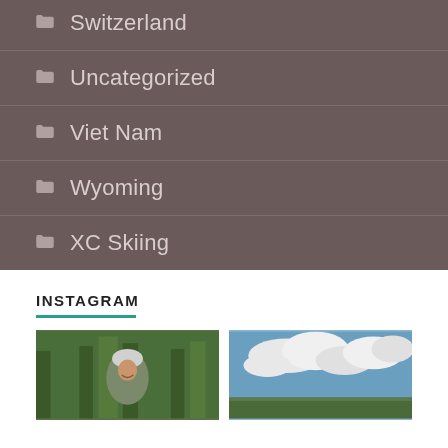Switzerland
Uncategorized
Viet Nam
Wyoming
XC Skiing
INSTAGRAM
[Figure (photo): Two Instagram photos side by side: left shows a person in a bike helmet smiling in a forest setting; right shows a cloudy sky over a landscape.]